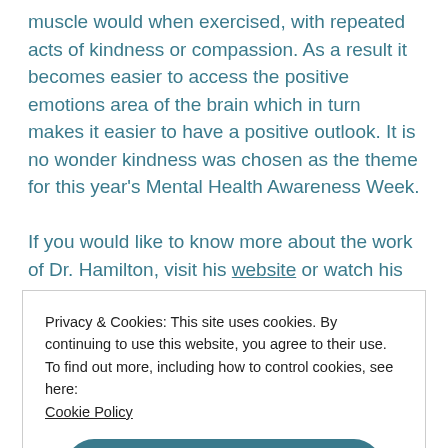muscle would when exercised, with repeated acts of kindness or compassion. As a result it becomes easier to access the positive emotions area of the brain which in turn makes it easier to have a positive outlook. It is no wonder kindness was chosen as the theme for this year's Mental Health Awareness Week.

If you would like to know more about the work of Dr. Hamilton, visit his website or watch his TEDx Talk – Why Kindness is Good for You here. You can also sign
Privacy & Cookies: This site uses cookies. By continuing to use this website, you agree to their use.
To find out more, including how to control cookies, see here:
Cookie Policy
Close and accept